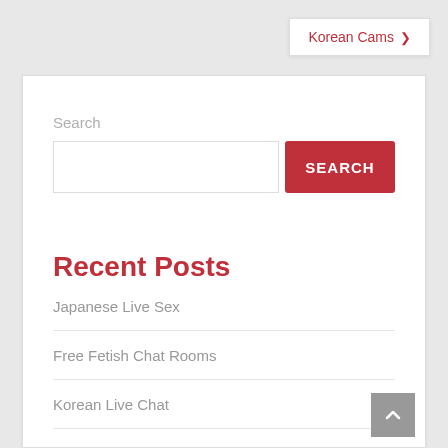Korean Cams ❯
Search
SEARCH
Recent Posts
Japanese Live Sex
Free Fetish Chat Rooms
Korean Live Chat
Filipina Cam Girls
Korean Cam Girls